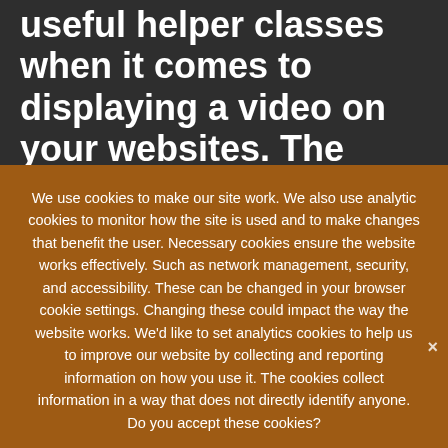useful helper classes when it comes to displaying a video on your websites. The responsive-embed class maintains any embedded content's aspect ratio as the screen width changes when applied to a container for the embedded content
We use cookies to make our site work. We also use analytic cookies to monitor how the site is used and to make changes that benefit the user. Necessary cookies ensure the website works effectively. Such as network management, security, and accessibility. These can be changed in your browser cookie settings. Changing these could impact the way the website works. We'd like to set analytics cookies to help us to improve our website by collecting and reporting information on how you use it. The cookies collect information in a way that does not directly identify anyone. Do you accept these cookies?
Yes, I accept cookies